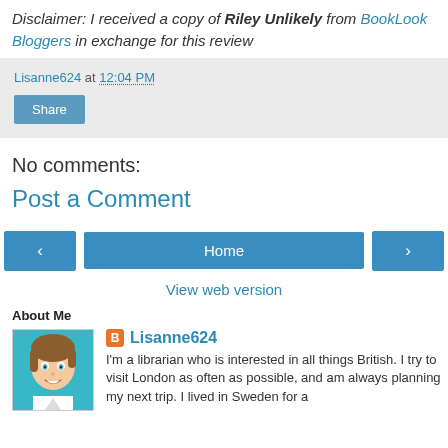Disclaimer: I received a copy of Riley Unlikely from BookLook Bloggers in exchange for this review
Lisanne624 at 12:04 PM
Share
No comments:
Post a Comment
‹  Home  ›
View web version
About Me
[Figure (illustration): Cartoon avatar of a woman with short brown hair, smiling]
Lisanne624
I'm a librarian who is interested in all things British. I try to visit London as often as possible, and am always planning my next trip. I lived in Sweden for a